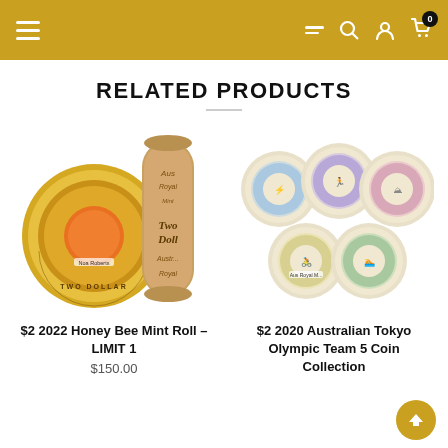Navigation header with hamburger menu, filter icon, search icon, account icon, and cart icon with badge 0
RELATED PRODUCTS
[Figure (photo): Product image of $2 2022 Honey Bee Mint Roll showing a gold two dollar coin with orange honeycomb center and a cylindrical mint roll tube beside it]
$2 2022 Honey Bee Mint Roll – LIMIT 1
$150.00
[Figure (photo): Product image of $2 2020 Australian Tokyo Olympic Team 5 Coin Collection showing five colorful coins arranged in a fan pattern with blue, purple, pink, yellow, and green borders]
$2 2020 Australian Tokyo Olympic Team 5 Coin Collection